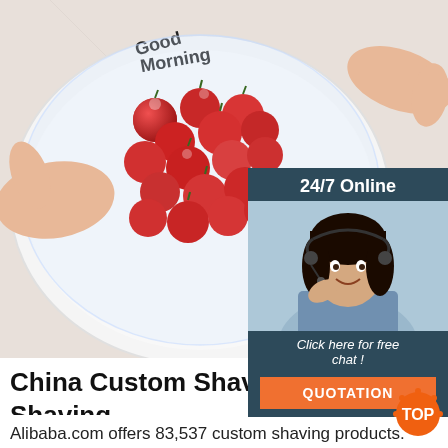[Figure (photo): Hands holding a white plate with cherry tomatoes covered in plastic wrap, with 'GOOD MORNING' text on the plate]
[Figure (infographic): 24/7 Online customer service widget with a woman wearing a headset, showing 'Click here for free chat!' text and orange QUOTATION button]
China Custom Shaving, China Custom Shaving
Alibaba.com offers 83,537 custom shaving products. About 8% of these are shaving brush, 7% are razor, and 1% are other shaving & hair removal products. A wide variety of custom shaving options are available to you, such as